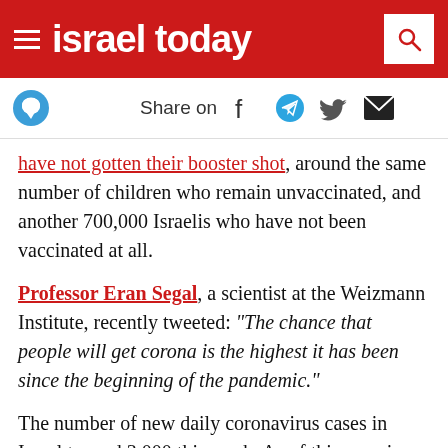israel today
Share on
have not gotten their booster shot, around the same number of children who remain unvaccinated, and another 700,000 Israelis who have not been vaccinated at all.
Professor Eran Segal, a scientist at the Weizmann Institute, recently tweeted: “The chance that people will get corona is the highest it has been since the beginning of the pandemic.”
The number of new daily coronavirus cases in Israel topped 3,000 this week. As of this morning, there are 15,487 active cases, of whom 85 are in serious condition. Israel Prime Minister Naftali Bennett